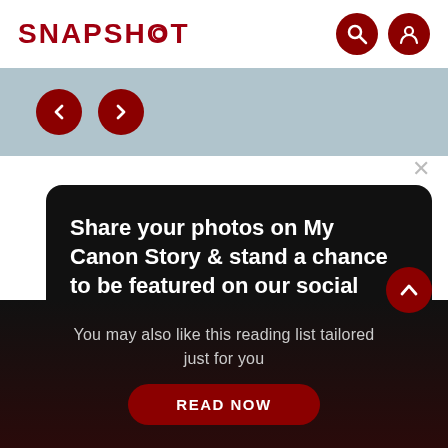SNAPSHOT
[Figure (screenshot): Light blue/grey carousel banner area with two dark red circular navigation arrow buttons (left and right chevrons)]
Share your photos on My Canon Story & stand a chance to be featured on our social media platforms
[Figure (photo): Night cityscape photo showing illuminated buildings]
You may also like this reading list tailored just for you
READ NOW